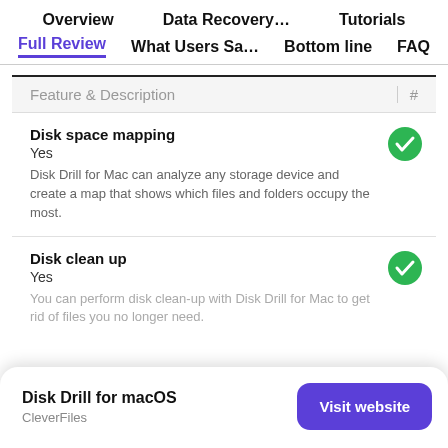Overview  Data Recovery…  Tutorials
Full Review  What Users Sa…  Bottom line  FAQ
| Feature & Description | # |
| --- | --- |
| Disk space mapping
Yes
Disk Drill for Mac can analyze any storage device and create a map that shows which files and folders occupy the most. | ✓ |
| Disk clean up
Yes
You can perform disk clean-up with Disk Drill for Mac to get rid of files you no longer need. | ✓ |
Disk Drill for macOS
CleverFiles
Visit website